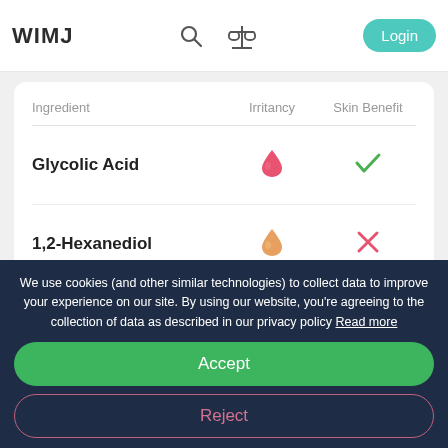WIMJ
| Ingredient | Irritancy | Skin Benefit |
| --- | --- | --- |
| Glycolic Acid | 🔥 (high irritancy) | ✓ |
| 1,2-Hexanediol | 🔥 (low irritancy) | ✗ |
| Ethyl Hexanediol | 🔥 (high irritancy) | ✗ |
We use cookies (and other similar technologies) to collect data to improve your experience on our site. By using our website, you're agreeing to the collection of data as described in our privacy policy Read more
Accept
Reject